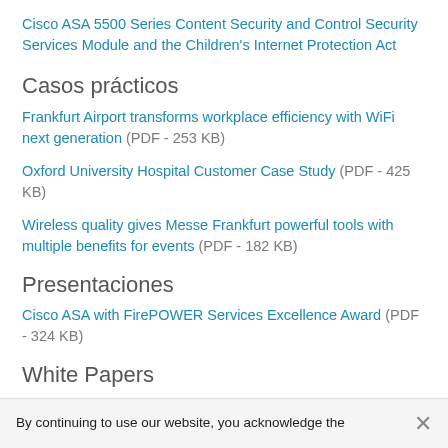Cisco ASA 5500 Series Content Security and Control Security Services Module and the Children's Internet Protection Act
Casos prácticos
Frankfurt Airport transforms workplace efficiency with WiFi next generation (PDF - 253 KB)
Oxford University Hospital Customer Case Study (PDF - 425 KB)
Wireless quality gives Messe Frankfurt powerful tools with multiple benefits for events (PDF - 182 KB)
Presentaciones
Cisco ASA with FirePOWER Services Excellence Award (PDF - 324 KB)
White Papers
Guía de implementación de políticas de acceso dinámico (DAP) ASA 8.x
By continuing to use our website, you acknowledge the